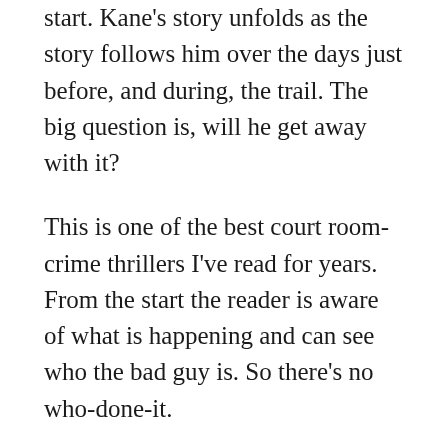start. Kane's story unfolds as the story follows him over the days just before, and during, the trail. The big question is, will he get away with it?
This is one of the best court room-crime thrillers I've read for years. From the start the reader is aware of what is happening and can see who the bad guy is. So there's no who-done-it.
The suspense that is built up in the court room scenes is electric and I had real difficulty putting this book down.
I don't think I've ever come across this concept before, and that's a rarity these days.